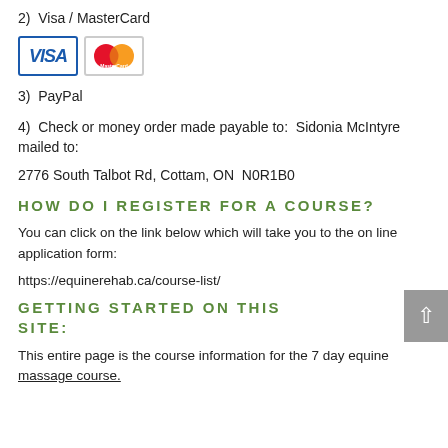2)  Visa / MasterCard
[Figure (logo): Visa and MasterCard logo images side by side]
3)  PayPal
4)  Check or money order made payable to:  Sidonia McIntyre mailed to:
2776 South Talbot Rd, Cottam, ON  N0R1B0
HOW DO I REGISTER FOR A COURSE?
You can click on the link below which will take you to the on line application form:
https://equinerehab.ca/course-list/
GETTING STARTED ON THIS SITE:
This entire page is the course information for the 7 day equine massage course.